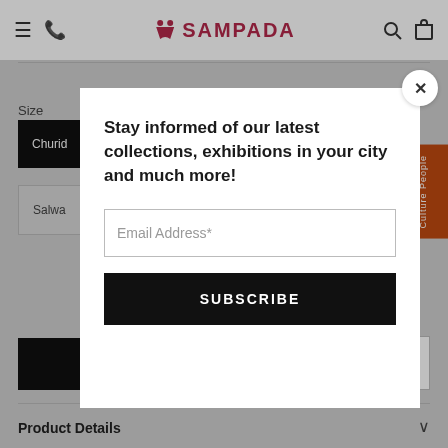Sampada - navigation header with hamburger, phone, logo, search, cart icons
[Figure (screenshot): Background product page showing Size label, Churidaar and Salwar buttons, Add to Cart bar with price ₹650, heart/wishlist button, Product Details section]
Stay informed of our latest collections, exhibitions in your city and much more!
Email Address*
SUBSCRIBE